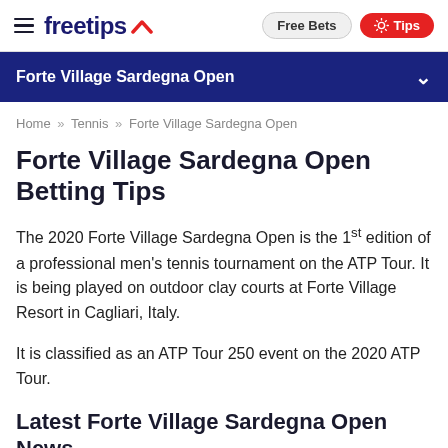freetips | Free Bets | Tips
Forte Village Sardegna Open
Home » Tennis » Forte Village Sardegna Open
Forte Village Sardegna Open Betting Tips
The 2020 Forte Village Sardegna Open is the 1st edition of a professional men's tennis tournament on the ATP Tour. It is being played on outdoor clay courts at Forte Village Resort in Cagliari, Italy.
It is classified as an ATP Tour 250 event on the 2020 ATP Tour.
Latest Forte Village Sardegna Open News